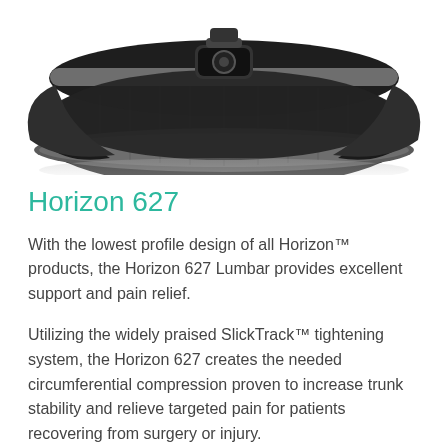[Figure (photo): Close-up photo of a black lumbar back brace with gray fabric trim and a black strap/dial mechanism at the top center, shown against a white background.]
Horizon 627
With the lowest profile design of all Horizon™ products, the Horizon 627 Lumbar provides excellent support and pain relief.
Utilizing the widely praised SlickTrack™ tightening system, the Horizon 627 creates the needed circumferential compression proven to increase trunk stability and relieve targeted pain for patients recovering from surgery or injury.